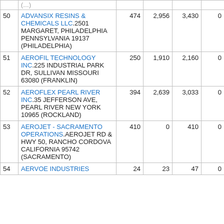| # | Name/Address | Col3 | Col4 | Col5 | Col6 |
| --- | --- | --- | --- | --- | --- |
| 50 | ADVANSIX RESINS & CHEMICALS LLC.2501 MARGARET, PHILADELPHIA PENNSYLVANIA 19137 (PHILADELPHIA) | 474 | 2,956 | 3,430 | 0 |
| 51 | AEROFIL TECHNOLOGY INC.225 INDUSTRIAL PARK DR, SULLIVAN MISSOURI 63080 (FRANKLIN) | 250 | 1,910 | 2,160 | 0 |
| 52 | AEROFLEX PEARL RIVER INC.35 JEFFERSON AVE, PEARL RIVER NEW YORK 10965 (ROCKLAND) | 394 | 2,639 | 3,033 | 0 |
| 53 | AEROJET - SACRAMENTO OPERATIONS.AEROJET RD & HWY 50, RANCHO CORDOVA CALIFORNIA 95742 (SACRAMENTO) | 410 | 0 | 410 | 0 |
| 54 | AERVOE INDUSTRIES | 24 | 23 | 47 | 0 |